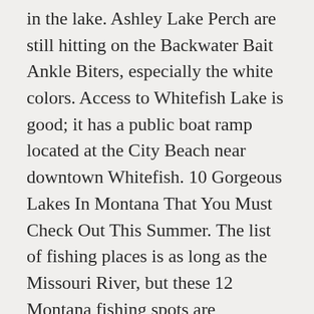in the lake. Ashley Lake Perch are still hitting on the Backwater Bait Ankle Biters, especially the white colors. Access to Whitefish Lake is good; it has a public boat ramp located at the City Beach near downtown Whitefish. 10 Gorgeous Lakes In Montana That You Must Check Out This Summer. The list of fishing places is as long as the Missouri River, but these 12 Montana fishing spots are especially perfect for casting a line. A very scenic good condition gravel road it is paved for a few miles near the dam encircles the reservoir. I also write about the different types of fish that you can fly fish for. So come back often to see the new things, places, and the different fish that I write about. However, Whitefish Lake has lake